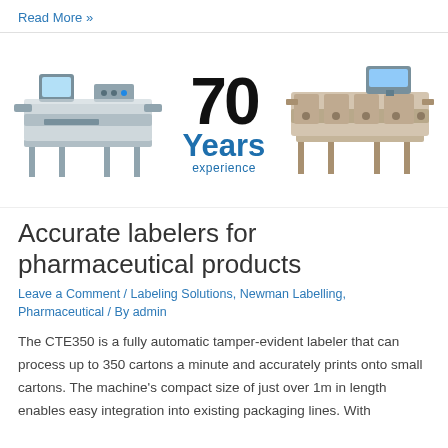Read More »
[Figure (photo): Two pharmaceutical labeling machines (Newman Labelling) flanking a '70 Years experience' badge in blue and black text]
Accurate labelers for pharmaceutical products
Leave a Comment / Labeling Solutions, Newman Labelling, Pharmaceutical / By admin
The CTE350 is a fully automatic tamper-evident labeler that can process up to 350 cartons a minute and accurately prints onto small cartons. The machine's compact size of just over 1m in length enables easy integration into existing packaging lines. With